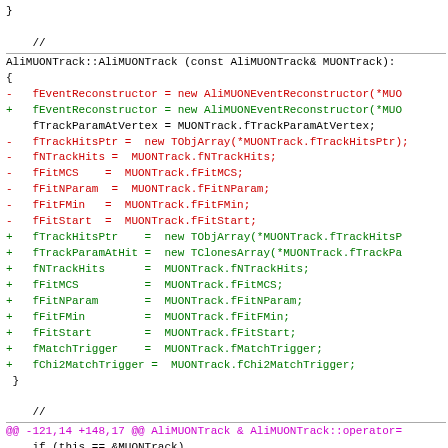Code diff showing AliMUONTrack copy constructor and operator= modifications, with removed lines in red and added lines in green.